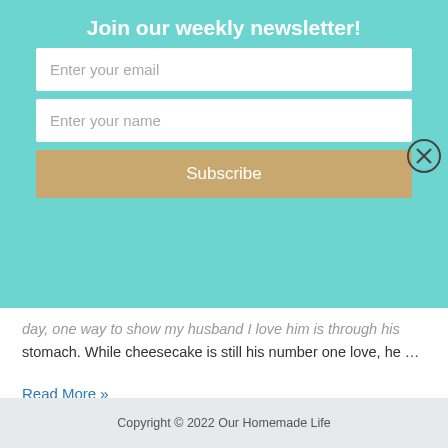Join our weekly newsletter!
[Figure (screenshot): Newsletter signup form with email input, name input, and Subscribe button on teal background]
day, one way to show my husband I love him is through his stomach. While cheesecake is still his number one love, he …
Read More »
1  2  3  Next Page →
Copyright © 2022 Our Homemade Life